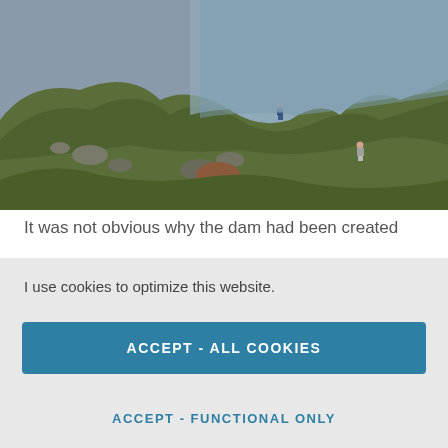[Figure (photo): Aerial/elevated view of hikers on a green grassy hillside next to a grey-blue lake or reservoir. Rocky terrain visible. Two hikers visible, overcast sky.]
It was not obvious why the dam had been created
I use cookies to optimize this website.
ACCEPT - ALL COOKIES
ACCEPT - FUNCTIONAL ONLY